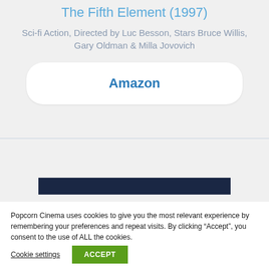The Fifth Element (1997)
Sci-fi Action, Directed by Luc Besson, Stars Bruce Willis, Gary Oldman & Milla Jovovich
Amazon
[Figure (screenshot): Dark navy colored banner strip, partially visible content beneath]
Popcorn Cinema uses cookies to give you the most relevant experience by remembering your preferences and repeat visits. By clicking “Accept”, you consent to the use of ALL the cookies.
Cookie settings
ACCEPT